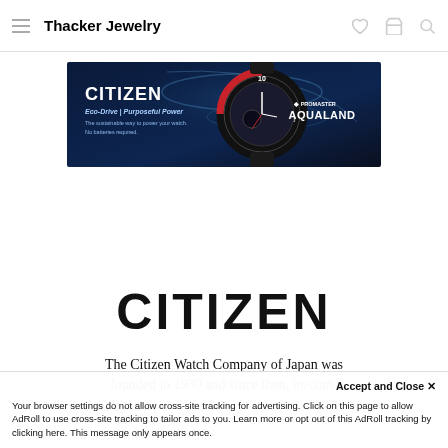Thacker Jewelry
[Figure (photo): Citizen Promaster Aqualand watch advertisement banner with dark blue water background, showing a diver's watch with red and black bezel. Text reads: CITIZEN, Eco-Drive | Purposeful Power, PROMASTER AQUALAND]
CITIZEN
The Citizen Watch Company of Japan was founded in 1930 and since then, its commitment to quality has remained firmly
Accept and Close ×
Your browser settings do not allow cross-site tracking for advertising. Click on this page to allow AdRoll to use cross-site tracking to tailor ads to you. Learn more or opt out of this AdRoll tracking by clicking here. This message only appears once.